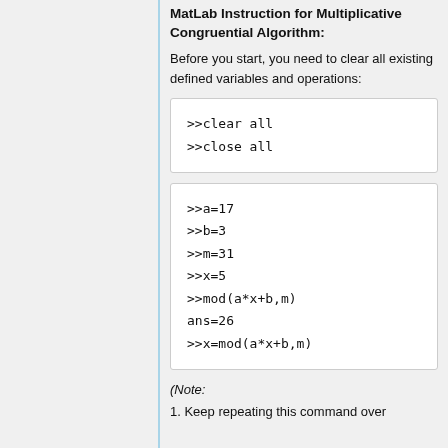MatLab Instruction for Multiplicative Congruential Algorithm:
Before you start, you need to clear all existing defined variables and operations:
>>clear all
>>close all
>>a=17
>>b=3
>>m=31
>>x=5
>>mod(a*x+b,m)
ans=26
>>x=mod(a*x+b,m)
(Note:
1. Keep repeating this command over